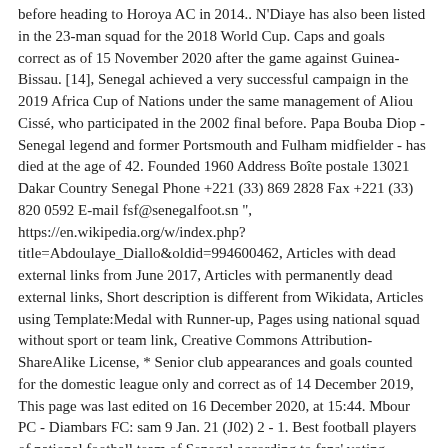before heading to Horoya AC in 2014.. N'Diaye has also been listed in the 23-man squad for the 2018 World Cup. Caps and goals correct as of 15 November 2020 after the game against Guinea-Bissau. [14], Senegal achieved a very successful campaign in the 2019 Africa Cup of Nations under the same management of Aliou Cissé, who participated in the 2002 final before. Papa Bouba Diop - Senegal legend and former Portsmouth and Fulham midfielder - has died at the age of 42. Founded 1960 Address Boîte postale 13021 Dakar Country Senegal Phone +221 (33) 869 2828 Fax +221 (33) 820 0592 E-mail fsf@senegalfoot.sn ", https://en.wikipedia.org/w/index.php?title=Abdoulaye_Diallo&oldid=994600462, Articles with dead external links from June 2017, Articles with permanently dead external links, Short description is different from Wikidata, Articles using Template:Medal with Runner-up, Pages using national squad without sport or team link, Creative Commons Attribution-ShareAlike License, * Senior club appearances and goals counted for the domestic league only and correct as of 14 December 2019, This page was last edited on 16 December 2020, at 15:44. Mbour PC - Diambars FC: sam 9 Jan. 21 (J02) 2 - 1. Best football players of national football team of Senegal according to fans' voting results, 2021 Senegal coach Aliou Cisse rued his side's inability to recover from an early goal as their wait for a first Africa Cup of Nations title was extended following Friday's 1-0 loss to Algeria.... more » 19.07.2019 23:05 After Senegal's former